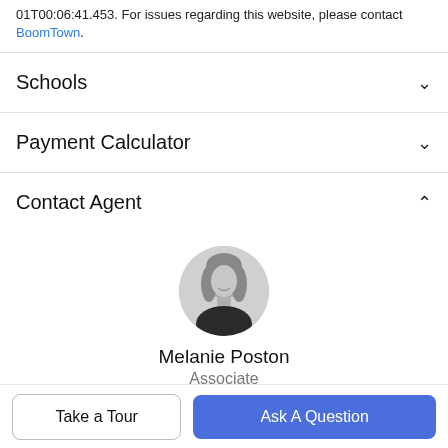01T00:06:41.453. For issues regarding this website, please contact BoomTown.
Schools
Payment Calculator
Contact Agent
[Figure (photo): Circular black and white headshot of Melanie Poston, a woman with blonde hair]
Melanie Poston
Associate
Office: 706.629.2121
Call: 404.200.2401
Take a Tour
Ask A Question